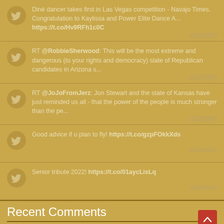Diné dancer takes first in Las Vegas competition - Navajo Times. Congratulation to Kaylissa and Power Elite Dance A... https://t.co/Hv9RFh1c0C 2022/08/04
RT @RobbieSherwood: This will be the most extreme and dangerous (to your rights and democracy) slate of Republican candidates in Arizona s... 2022/08/03
RT @JoJoFromJerz: Jon Stewart and the state of Kansas have just reminded us all - that the power of the people is much stronger than the pe... 2022/08/03
Good advice if u plan to fly! https://t.co/gzpFOkkXds 2022/06/24
Senior tribute 2022! https://t.co/01aycLisLq 2022/05/18
Recent Comments
Primary Preview - UEW Members Vote to Ratify Contract - Phoe...